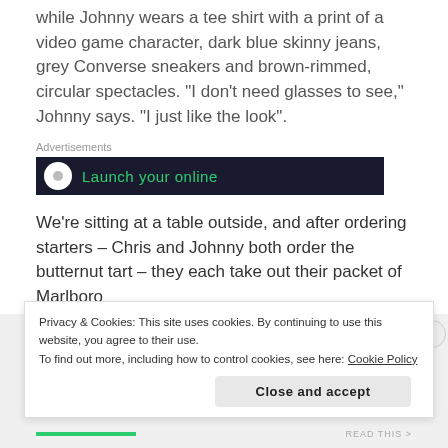while Johnny wears a tee shirt with a print of a video game character, dark blue skinny jeans, grey Converse sneakers and brown-rimmed, circular spectacles. “I don’t need glasses to see,” Johnny says. “I just like the look”.
[Figure (other): Advertisement banner with dark background showing 'Launch your online' text in green]
We’re sitting at a table outside, and after ordering starters – Chris and Johnny both order the butternut tart – they each take out their packet of Marlboro
Privacy & Cookies: This site uses cookies. By continuing to use this website, you agree to their use.
To find out more, including how to control cookies, see here: Cookie Policy
Close and accept